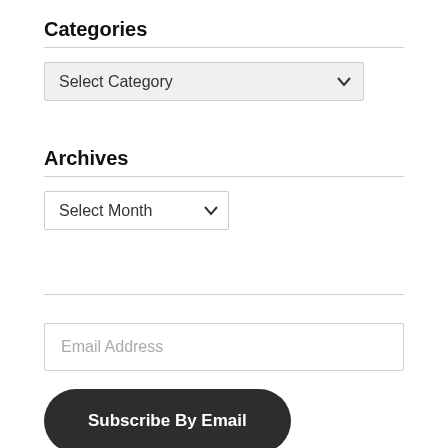Categories
[Figure (screenshot): A dropdown select input with label 'Select Category' and a chevron on the right, light gray background.]
Archives
[Figure (screenshot): A dropdown select input with label 'Select Month' and a chevron on the right, white background.]
[Figure (screenshot): An email address input field with placeholder text 'Email Address'.]
[Figure (screenshot): A dark rounded button with bold white text reading 'Subscribe By Email'.]
Join 10,419 other subscribers